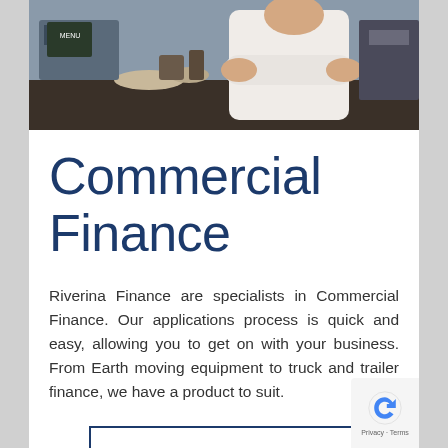[Figure (photo): Photo of a person in a white shirt standing with arms crossed behind a counter, possibly a restaurant or café setting]
Commercial Finance
Riverina Finance are specialists in Commercial Finance. Our applications process is quick and easy, allowing you to get on with your business. From Earth moving equipment to truck and trailer finance, we have a product to suit.
More Info